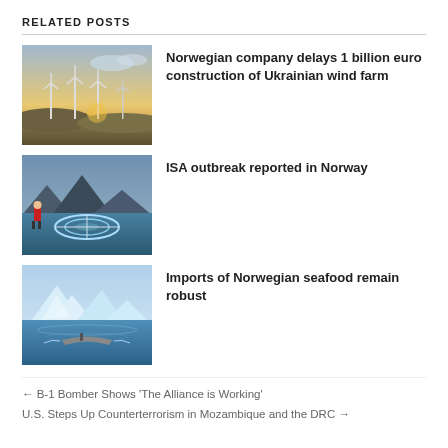RELATED POSTS
[Figure (photo): Wind turbines in a field at sunset]
Norwegian company delays 1 billion euro construction of Ukrainian wind farm
[Figure (photo): Worker on a fish farm with circular pens in a fjord]
ISA outbreak reported in Norway
[Figure (photo): Small boat on icy blue water with glaciers]
Imports of Norwegian seafood remain robust
← B-1 Bomber Shows 'The Alliance is Working'
U.S. Steps Up Counterterrorism in Mozambique and the DRC →